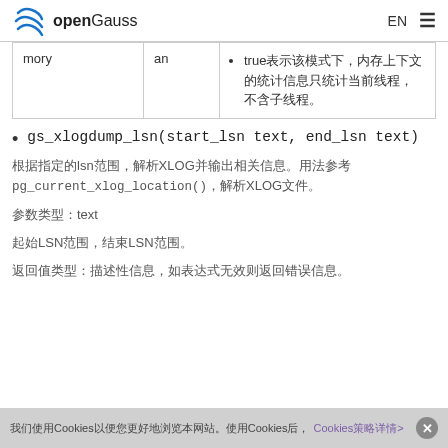openGauss EN ☰
| mory | an |  |
| --- | --- | --- |
| mory | an | • true表示该模式下，内存上下文的统计信息只统计当前线程，不含子线程。 |
gs_xlogdump_lsn(start_lsn text, end_lsn text)
根据指定的lsn范围，解析XLOG并输出相关信息。用法参考pg_current_xlog_location()，解析XLOG文件。
参数类型：text
起始LSN范围，结束LSN范围。
返回值类型：描述性信息，如表达式无效则返回错误信息。
我们使用Cookies以便您更好地浏览本网站。使用Cookies后，Cookies策略详情> ✕